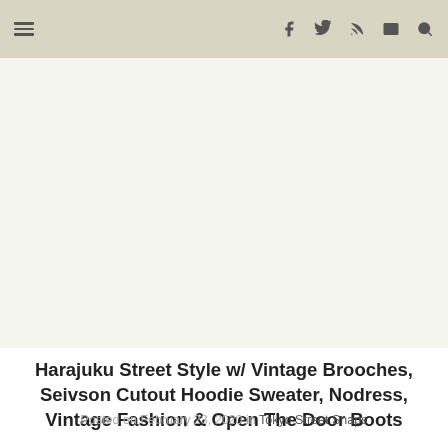≡  f  𝕥  ⊃  ✉  🔍
[Figure (photo): Large image placeholder area (white/off-white region) representing a Harajuku street style photo]
Harajuku Street Style w/ Vintage Brooches, Seivson Cutout Hoodie Sweater, Nodress, Vintage Fashion & Open The Door Boots
Posted on February 23, 2020 in Tokyo Street Snaps